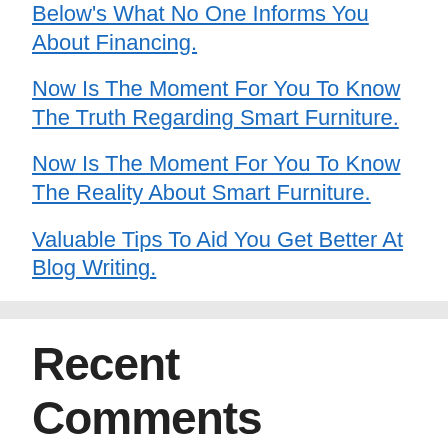Below's What No One Informs You About Financing.
Now Is The Moment For You To Know The Truth Regarding Smart Furniture.
Now Is The Moment For You To Know The Reality About Smart Furniture.
Valuable Tips To Aid You Get Better At Blog Writing.
Recent Comments
A WordPress Commenter on Hello world!